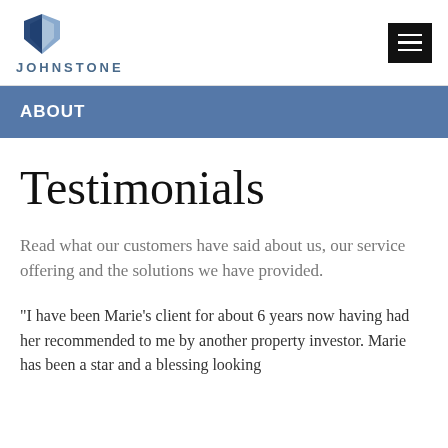JOHNSTONE
ABOUT
Testimonials
Read what our customers have said about us, our service offering and the solutions we have provided.
"I have been Marie's client for about 6 years now having had her recommended to me by another property investor. Marie has been a star and a blessing looking